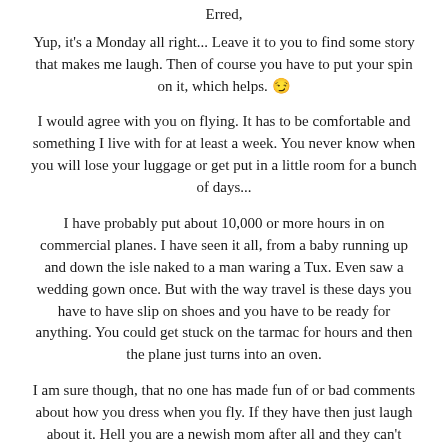Erred,
Yup, it's a Monday all right... Leave it to you to find some story that makes me laugh. Then of course you have to put your spin on it, which helps. 😉
I would agree with you on flying. It has to be comfortable and something I live with for at least a week. You never know when you will lose your luggage or get put in a little room for a bunch of days...
I have probably put about 10,000 or more hours in on commercial planes. I have seen it all, from a baby running up and down the isle naked to a man waring a Tux. Even saw a wedding gown once. But with the way travel is these days you have to have slip on shoes and you have to be ready for anything. You could get stuck on the tarmac for hours and then the plane just turns into an oven.
I am sure though, that no one has made fun of or bad comments about how you dress when you fly. If they have then just laugh about it. Hell you are a newish mom after all and they can't expect you to ware a silk blouse and wool skirt with heels and all that good stuff. All it would take is one small thing and then BOOM, Baby throws up on your shoulder and there goes a $300 blouse... I say just wear jeans